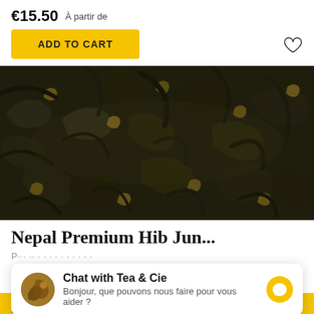€15.50 À partir de
ADD TO CART
[Figure (photo): Close-up photo of loose dry tea leaves, dark green-black twisted leaves with golden tips, Nepal Premium Hib Jun tea]
Nepal Premium Hib Jun...
P...
Chat with Tea & Cie
Bonjour, que pouvons nous faire pour vous aider ?
ADD TO CART